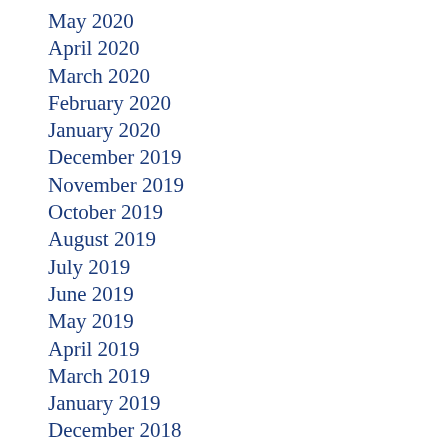May 2020
April 2020
March 2020
February 2020
January 2020
December 2019
November 2019
October 2019
August 2019
July 2019
June 2019
May 2019
April 2019
March 2019
January 2019
December 2018
November 2018
October 2018